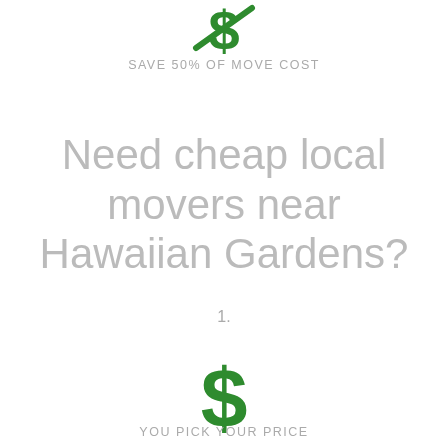[Figure (illustration): Green dollar sign icon with a diagonal strikethrough line, indicating savings or discounted cost]
SAVE 50% OF MOVE COST
Need cheap local movers near Hawaiian Gardens?
1.
[Figure (illustration): Large green dollar sign icon]
YOU PICK YOUR PRICE